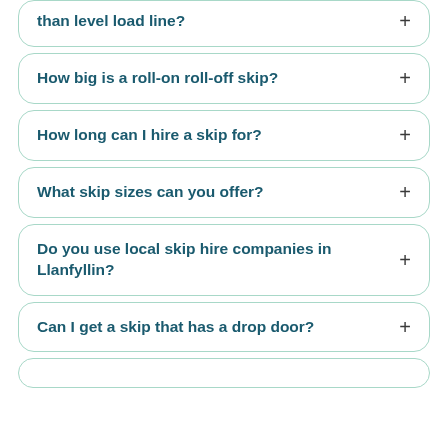than level load line?
How big is a roll-on roll-off skip?
How long can I hire a skip for?
What skip sizes can you offer?
Do you use local skip hire companies in Llanfyllin?
Can I get a skip that has a drop door?